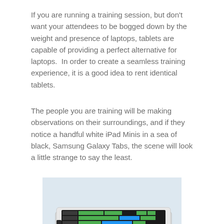If you are running a training session, but don't want your attendees to be bogged down by the weight and presence of laptops, tablets are capable of providing a perfect alternative for laptops.  In order to create a seamless training experience, it is a good idea to rent identical tablets.
The people you are training will be making observations on their surroundings, and if they notice a handful white iPad Minis in a sea of black, Samsung Galaxy Tabs, the scene will look a little strange to say the least.
[Figure (photo): A stack of multiple white tablets/iPads piled on top of each other, with the top tablet showing a colorful music or video editing application interface with green and blue tracks on a dark background.]